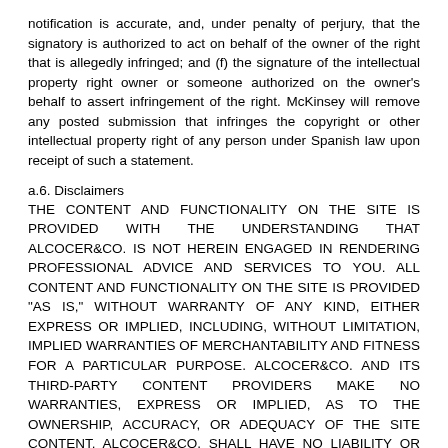notification is accurate, and, under penalty of perjury, that the signatory is authorized to act on behalf of the owner of the right that is allegedly infringed; and (f) the signature of the intellectual property right owner or someone authorized on the owner's behalf to assert infringement of the right. McKinsey will remove any posted submission that infringes the copyright or other intellectual property right of any person under Spanish law upon receipt of such a statement.
a.6. Disclaimers
THE CONTENT AND FUNCTIONALITY ON THE SITE IS PROVIDED WITH THE UNDERSTANDING THAT ALCOCER&CO. IS NOT HEREIN ENGAGED IN RENDERING PROFESSIONAL ADVICE AND SERVICES TO YOU. ALL CONTENT AND FUNCTIONALITY ON THE SITE IS PROVIDED "AS IS," WITHOUT WARRANTY OF ANY KIND, EITHER EXPRESS OR IMPLIED, INCLUDING, WITHOUT LIMITATION, IMPLIED WARRANTIES OF MERCHANTABILITY AND FITNESS FOR A PARTICULAR PURPOSE. ALCOCER&CO. AND ITS THIRD-PARTY CONTENT PROVIDERS MAKE NO WARRANTIES, EXPRESS OR IMPLIED, AS TO THE OWNERSHIP, ACCURACY, OR ADEQUACY OF THE SITE CONTENT. ALCOCER&CO. SHALL HAVE NO LIABILITY OR RESPONSIBILITY FOR ANY INFORMATION PUBLISHED ON LINKED WEBSITES, CONTAINED IN ANY USER SUBMISSIONS PUBLISHED ON THE SITE, OR PROVIDED BY